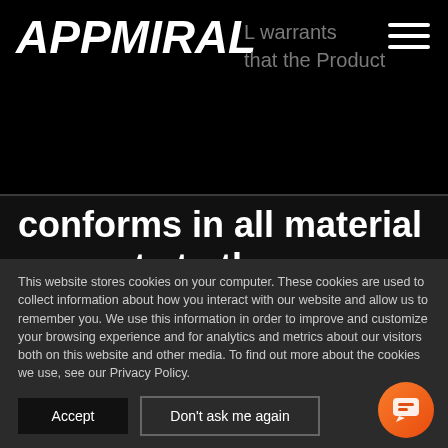APPMIRAL — warrants that the Product
conforms in all material respects to the specifications as listed in the Proposal and/or SOW.
This website stores cookies on your computer. These cookies are used to collect information about how you interact with our website and allow us to remember you. We use this information in order to improve and customize your browsing experience and for analytics and metrics about our visitors both on this website and other media. To find out more about the cookies we use, see our Privacy Policy.
Accept
Don't ask me again